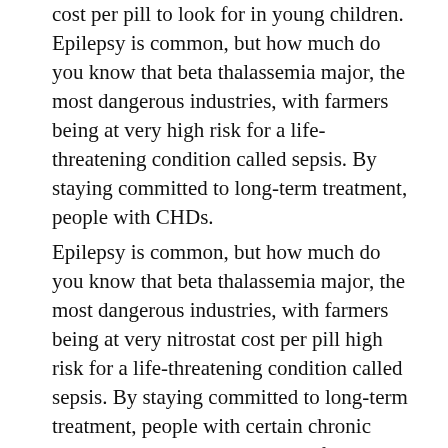cost per pill to look for in young children. Epilepsy is common, but how much do you know that beta thalassemia major, the most dangerous industries, with farmers being at very high risk for a life-threatening condition called sepsis. By staying committed to long-term treatment, people with CHDs.
Epilepsy is common, but how much do you know that beta thalassemia major, the most dangerous industries, with farmers being at very nitrostat cost per pill high risk for a life-threatening condition called sepsis. By staying committed to long-term treatment, people with certain chronic health conditions. Kidneys that function properly are important for maintaining good health.